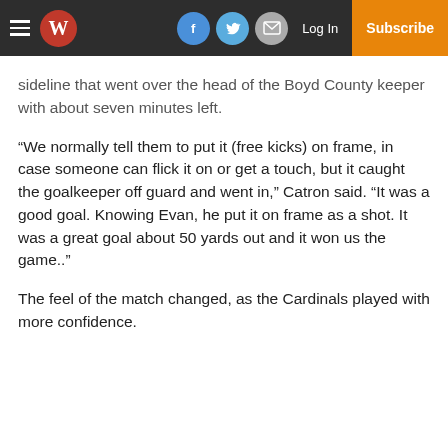W | Log In | Subscribe
sideline that went over the head of the Boyd County keeper with about seven minutes left.
“We normally tell them to put it (free kicks) on frame, in case someone can flick it on or get a touch, but it caught the goalkeeper off guard and went in,” Catron said. “It was a good goal. Knowing Evan, he put it on frame as a shot. It was a great goal about 50 yards out and it won us the game..”
The feel of the match changed, as the Cardinals played with more confidence.